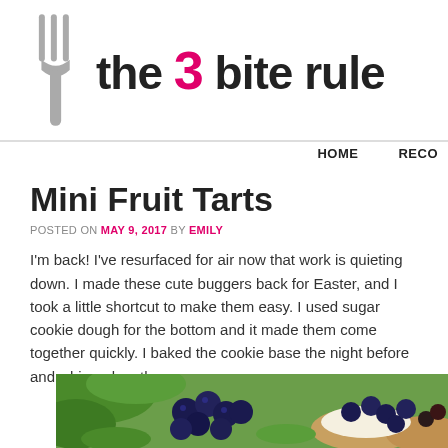[Figure (logo): The 3 Bite Rule blog logo with a grey fork icon and the text 'the 3 bite rule' where '3' is in pink/magenta]
HOME  RECO
Mini Fruit Tarts
POSTED ON MAY 9, 2017 BY EMILY
I'm back! I've resurfaced for air now that work is quieting down. I made these cute buggers back for Easter, and I took a little shortcut to make them easy. I used sugar cookie dough for the bottom and it made them come together quickly. I baked the cookie base the night before and whipped up the p
[Figure (photo): Close-up photo of mini fruit tarts topped with blueberries and other fruits on a tart shell with cream filling]